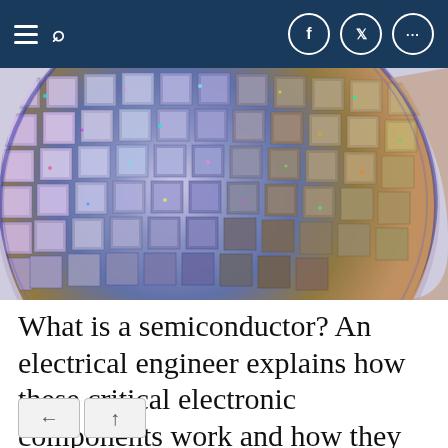Navigation bar with menu, search, Facebook, Twitter, and more options
[Figure (photo): Close-up photograph of a silicon semiconductor wafer with colorful iridescent chip dies arranged in a grid pattern on a circular wafer, showing purple, blue, gold, and green hues]
What is a semiconductor? An electrical engineer explains how these critical electronic components work and how they